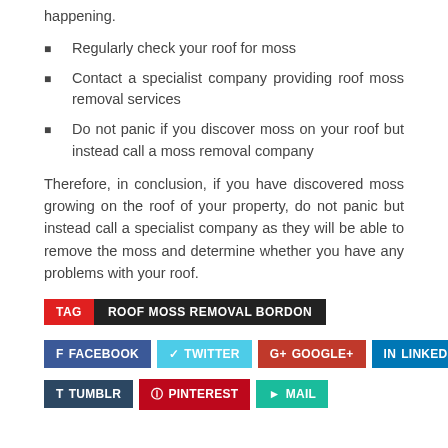happening.
Regularly check your roof for moss
Contact a specialist company providing roof moss removal services
Do not panic if you discover moss on your roof but instead call a moss removal company
Therefore, in conclusion, if you have discovered moss growing on the roof of your property, do not panic but instead call a specialist company as they will be able to remove the moss and determine whether you have any problems with your roof.
TAG  ROOF MOSS REMOVAL BORDON
FACEBOOK  TWITTER  GOOGLE+  LINKEDIN  TUMBLR  PINTEREST  MAIL